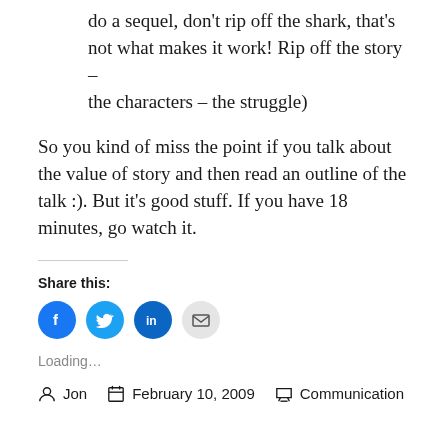do a sequel, don't rip off the shark, that's not what makes it work! Rip off the story – the characters – the struggle)
So you kind of miss the point if you talk about the value of story and then read an outline of the talk :). But it's good stuff. If you have 18 minutes, go watch it.
Share this:
[Figure (infographic): Four social share icon buttons: Facebook (blue circle with f), Twitter (blue circle with bird), LinkedIn (dark blue circle with in), Email (grey circle with envelope)]
Loading…
Jon   February 10, 2009   Communication